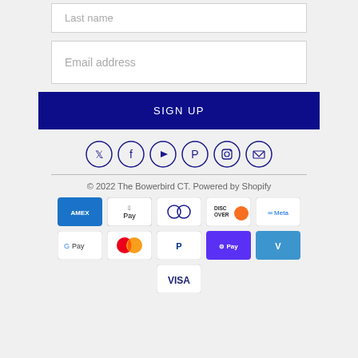Last name
Email address
SIGN UP
[Figure (infographic): Social media icons in circles: Twitter, Facebook, YouTube, Pinterest, Instagram, Email]
© 2022 The Bowerbird CT. Powered by Shopify
[Figure (infographic): Payment method logos: American Express, Apple Pay, Diners Club, Discover, Meta Pay, Google Pay, Mastercard, PayPal, Shop Pay, Venmo, Visa]